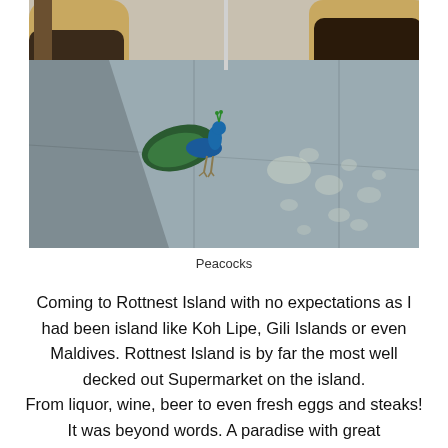[Figure (photo): A peacock walking on a concrete pathway in dappled sunlight, with raised garden beds and a tree visible in the background.]
Peacocks
Coming to Rottnest Island with no expectations as I had been island like Koh Lipe, Gili Islands or even Maldives. Rottnest Island is by far the most well decked out Supermarket on the island.
From liquor, wine, beer to even fresh eggs and steaks! It was beyond words. A paradise with great convenience. I would rather rent a chalet home with bbq pit to enjoy